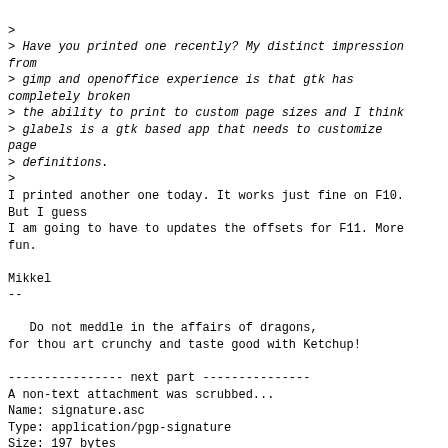>
> Have you printed one recently? My distinct impression from
> gimp and openoffice experience is that gtk has completely broken
> the ability to print to custom page sizes and I think
> glabels is a gtk based app that needs to customize page
> definitions.
>
I printed another one today. It works just fine on F10. But I guess
I am going to have to updates the offsets for F11. More fun.

Mikkel
--

   Do not meddle in the affairs of dragons,
for thou art crunchy and taste good with Ketchup!

---------------- next part ---------------
A non-text attachment was scrubbed...
Name: signature.asc
Type: application/pgp-signature
Size: 197 bytes
Desc: OpenPGP digital signature
URL: <http://listman.redhat.com/archives/fedora-list/attachments/20090706/fbf4fc39/attachment-0001.sig>